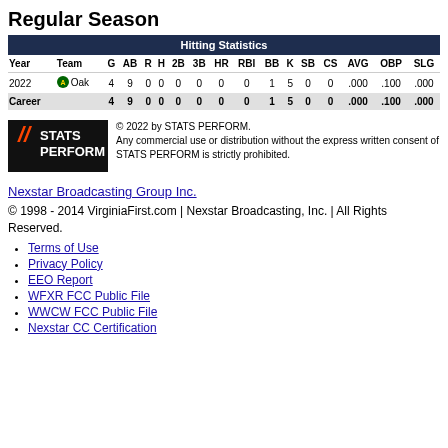Regular Season
| Year | Team | G | AB | R | H | 2B | 3B | HR | RBI | BB | K | SB | CS | AVG | OBP | SLG |
| --- | --- | --- | --- | --- | --- | --- | --- | --- | --- | --- | --- | --- | --- | --- | --- | --- |
| 2022 | Oak | 4 | 9 | 0 | 0 | 0 | 0 | 0 | 0 | 1 | 5 | 0 | 0 | .000 | .100 | .000 |
| Career |  | 4 | 9 | 0 | 0 | 0 | 0 | 0 | 0 | 1 | 5 | 0 | 0 | .000 | .100 | .000 |
[Figure (logo): STATS PERFORM logo with colorful diagonal slashes on black background]
© 2022 by STATS PERFORM. Any commercial use or distribution without the express written consent of STATS PERFORM is strictly prohibited.
Nexstar Broadcasting Group Inc.
© 1998 - 2014 VirginiaFirst.com | Nexstar Broadcasting, Inc. | All Rights Reserved.
Terms of Use
Privacy Policy
EEO Report
WFXR FCC Public File
WWCW FCC Public File
Nexstar CC Certification